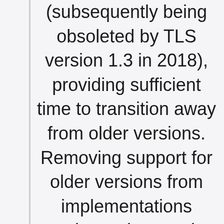(subsequently being obsoleted by TLS version 1.3 in 2018), providing sufficient time to transition away from older versions. Removing support for older versions from implementations reduces the attack surface, reduces opportunity for misconfiguration, and